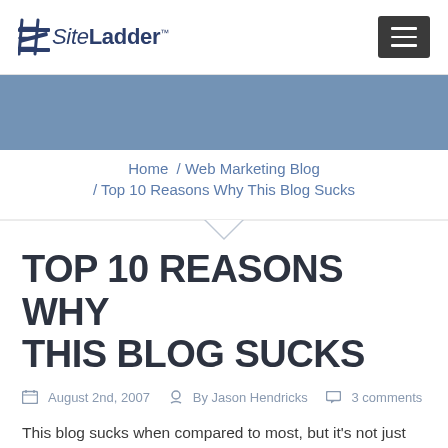SiteLadder™
Home / Web Marketing Blog / Top 10 Reasons Why This Blog Sucks
TOP 10 REASONS WHY THIS BLOG SUCKS
August 2nd, 2007  By Jason Hendricks  3 comments
This blog sucks when compared to most, but it's not just one thing that makes it so bad. It's a combination of many different basic blogging mistakes. So, maybe by pointing